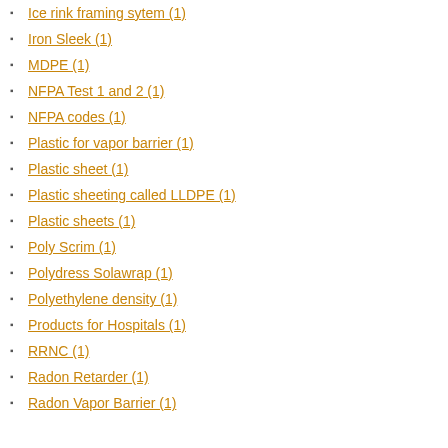Ice rink framing sytem (1)
Iron Sleek (1)
MDPE (1)
NFPA Test 1 and 2 (1)
NFPA codes (1)
Plastic for vapor barrier (1)
Plastic sheet (1)
Plastic sheeting called LLDPE (1)
Plastic sheets (1)
Poly Scrim (1)
Polydress Solawrap (1)
Polyethylene density (1)
Products for Hospitals (1)
RRNC (1)
Radon Retarder (1)
Radon Vapor Barrier (1)